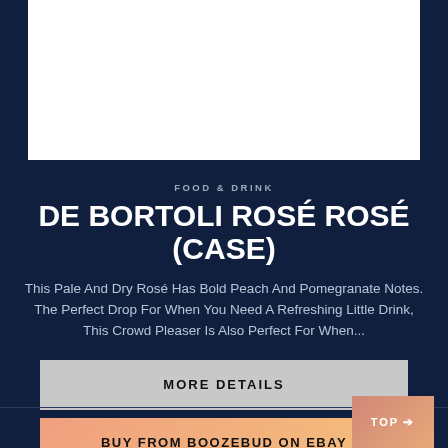[Figure (photo): White rectangular image area at top of page (product image placeholder)]
FOOD & DRINK
DE BORTOLI ROSÉ ROSÉ (CASE)
This Pale And Dry Rosé Has Bold Peach And Pomegranate Notes. The Perfect Drop For When You Need A Refreshing Little Drink, This Crowd Pleaser Is Also Perfect For When...
MORE DETAILS
BUY FROM BOOZEBUD ON EBAY
TOP ➔